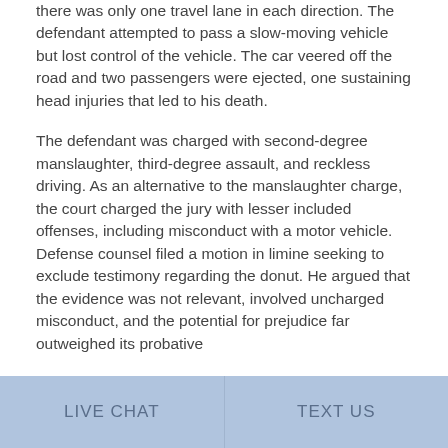there was only one travel lane in each direction. The defendant attempted to pass a slow-moving vehicle but lost control of the vehicle. The car veered off the road and two passengers were ejected, one sustaining head injuries that led to his death.
The defendant was charged with second-degree manslaughter, third-degree assault, and reckless driving. As an alternative to the manslaughter charge, the court charged the jury with lesser included offenses, including misconduct with a motor vehicle. Defense counsel filed a motion in limine seeking to exclude testimony regarding the donut. He argued that the evidence was not relevant, involved uncharged misconduct, and the potential for prejudice far outweighed its probative
LIVE CHAT   TEXT US